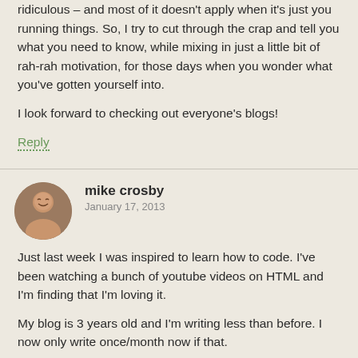ridiculous – and most of it doesn't apply when it's just you running things. So, I try to cut through the crap and tell you what you need to know, while mixing in just a little bit of rah-rah motivation, for those days when you wonder what you've gotten yourself into.
I look forward to checking out everyone's blogs!
Reply
mike crosby
January 17, 2013
Just last week I was inspired to learn how to code. I've been watching a bunch of youtube videos on HTML and I'm finding that I'm loving it.
My blog is 3 years old and I'm writing less than before. I now only write once/month now if that.
What I find interesting is Kindle Publishing. We now have within our power to write and publish our own book for the whole world to see for almost no cost.
MMM could string some of his "best of" posts together and he'd have an excellent book available on Kindle.